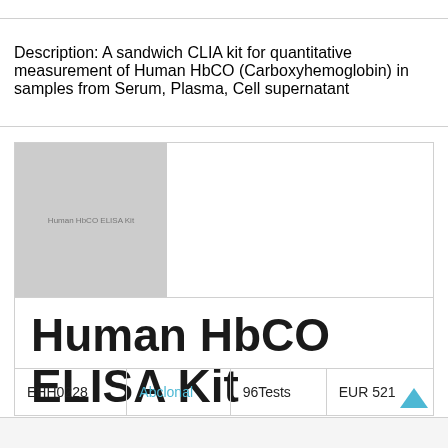Description: A sandwich CLIA kit for quantitative measurement of Human HbCO (Carboxyhemoglobin) in samples from Serum, Plasma, Cell supernatant
[Figure (photo): Placeholder product image showing Human HbCO ELISA Kit label]
Human HbCO ELISA Kit
| EHH0228 | Abclonal | 96Tests | EUR 521 |